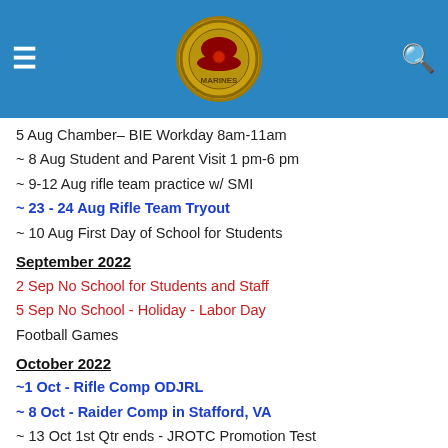MCJROTC School Calendar
5 Aug Chamber– BIE Workday 8am-11am
~ 8 Aug Student and Parent Visit 1 pm-6 pm
~ 9-12 Aug rifle team practice w/ SMI
~ 23 - 24 Aug Rifle Team Tryout
~ 10 Aug First Day of School for Students
September 2022
2 Sep No School for Students and Staff
5 Sep No School - Holiday - Labor Day
Football Games
October 2022
~1 Oct - Rifle Comp ODJRL
~ 8 Oct - Raider Comp in Stafford, VA
~ 13 Oct 1st Qtr ends - JROTC Promotion Test
14 Oct - Staff Work Day
~  17-21 Oct JROTC Physical Fitness Test
~ TBD Air Rifle Match in Stafford Post 290
November 2022